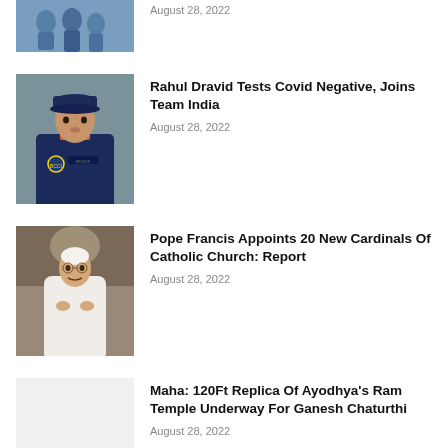[Figure (photo): Partial view of a news item at top with a cropped photo of people in blue uniforms]
August 28, 2022
[Figure (photo): Photo of Rahul Dravid wearing a blue India cricket team cap and jersey]
Rahul Dravid Tests Covid Negative, Joins Team India
August 28, 2022
[Figure (photo): Photo of Pope Francis in white robes standing at a podium/lectern]
Pope Francis Appoints 20 New Cardinals Of Catholic Church: Report
August 28, 2022
Maha: 120Ft Replica Of Ayodhya's Ram Temple Underway For Ganesh Chaturthi
August 28, 2022
Load more